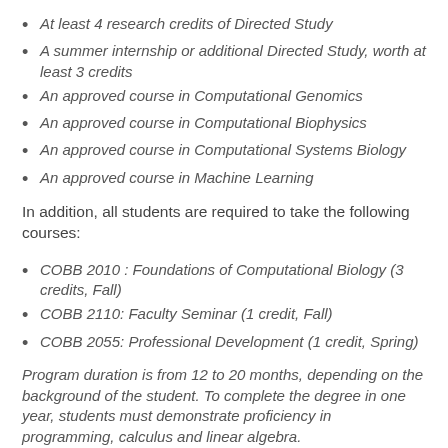At least 4 research credits of Directed Study
A summer internship or additional Directed Study, worth at least 3 credits
An approved course in Computational Genomics
An approved course in Computational Biophysics
An approved course in Computational Systems Biology
An approved course in Machine Learning
In addition, all students are required to take the following courses:
COBB 2010 : Foundations of Computational Biology (3 credits, Fall)
COBB 2110: Faculty Seminar (1 credit, Fall)
COBB 2055: Professional Development (1 credit, Spring)
Program duration is from 12 to 20 months, depending on the background of the student. To complete the degree in one year, students must demonstrate proficiency in programming, calculus and linear algebra.